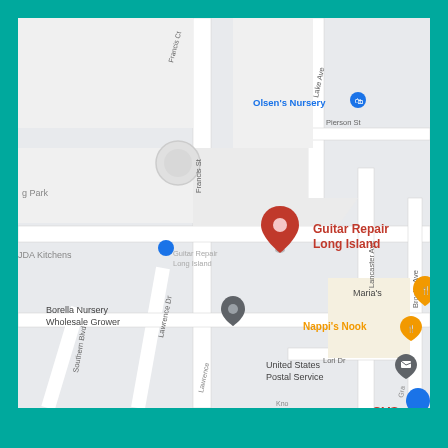[Figure (map): Google Maps screenshot showing Guitar Repair Long Island location with surrounding streets including Francis St, Lake Ave, Pierson St, Lancaster Ave, Brooks Ave, Lawrence Dr, Southern Blvd, Lori Dr. Nearby businesses include Olsen's Nursery, JDA Kitchens, Borella Nursery Wholesale Grower, Maria's, Nappi's Nook, United States Postal Service, CVS, and Costello's Hardware of Nesco. A red location pin marks Guitar Repair Long Island.]